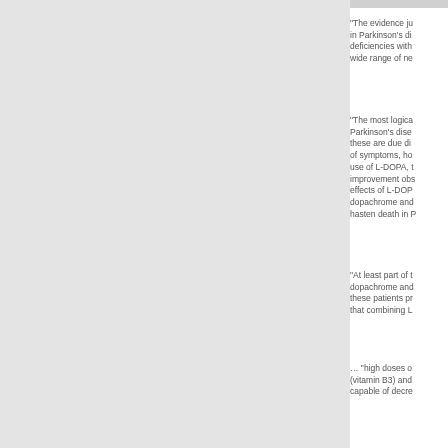“The evidence ju in Parkinson’s di deficiencies with wide range of ne
“The most logica Parkinson’s dise these are due di of symptoms, ho use of L-DOPA, t improvement obs effects of L-DOP dopachrome and hasten death in P
“At least part of t dopachrome and these patients pr that combining L
… “high doses o (vitamin B3) and capable of decre